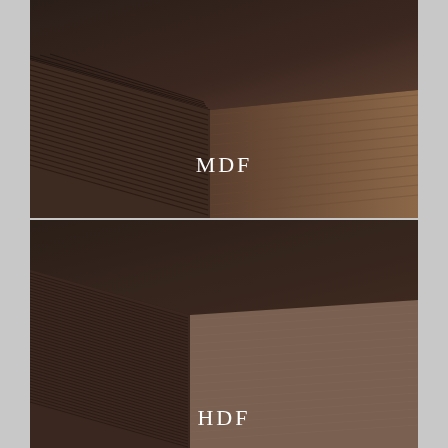[Figure (photo): Close-up photograph of a stack of MDF (Medium Density Fiberboard) sheets showing the corner edge, with dark brown smooth surfaces and layered edge visible. White text label 'MDF' overlaid on the image.]
[Figure (photo): Close-up photograph of a stack of HDF (High Density Fiberboard) sheets showing the corner edge, with dark brown surfaces and thinner layered edges visible. White text label 'HDF' overlaid on the image.]